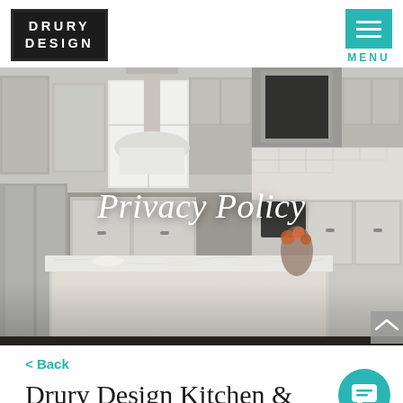DRURY DESIGN | MENU
[Figure (photo): Luxury kitchen interior with white cabinetry, marble island, stainless steel appliances, pendant lights, and a range hood. Overlay text reads 'Privacy Policy' in white italic serif font.]
Privacy Policy
< Back
Drury Design Kitchen &